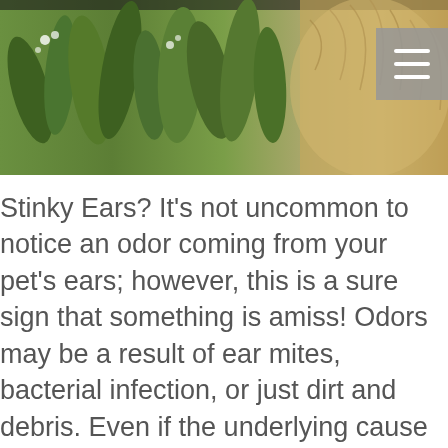[Figure (photo): Photo of green plants and leaves with a fluffy animal (dog) visible on the right side, and a hamburger menu icon in the top right corner.]
Stinky Ears? It’s not uncommon to notice an odor coming from your pet’s ears; however, this is a sure sign that something is amiss! Odors may be a result of ear mites, bacterial infection, or just dirt and debris. Even if the underlying cause of smelly ears is found to be ear mites or an infection, the animal’s ears will still require cleaning on a regular basis to ensure no further problems develop and to help him remain odor free.
How to Clean the Ears:
Use a clean cotton ball to gently clean inside the ear. Never use a cotton swab of any sort. Gentle swipes of the ear work